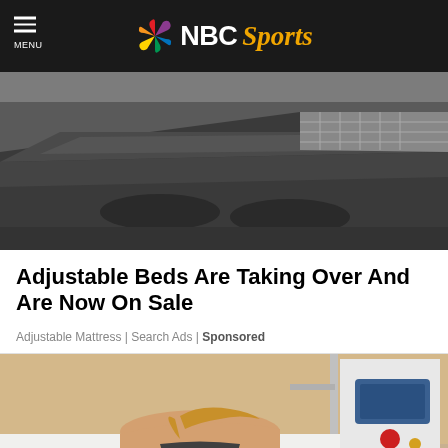NBC Sports
[Figure (photo): Close-up photo of a dark grey adjustable mattress/bed from above-angle view]
Adjustable Beds Are Taking Over And Are Now On Sale
Adjustable Mattress | Search Ads | Sponsored
[Figure (photo): Woman lying on a treatment table receiving a body contouring or cryotherapy treatment with a medical device machine visible on the right]